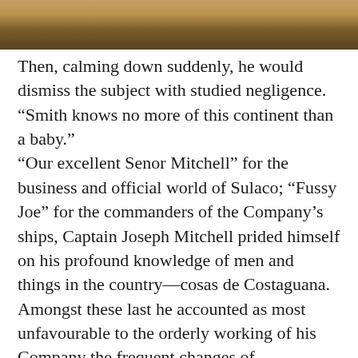[Figure (photo): Partial photo of a person in an outdoor setting with autumn foliage, showing clothing in orange/brown tones]
Then, calming down suddenly, he would dismiss the subject with studied negligence. “Smith knows no more of this continent than a baby.”
“Our excellent Senor Mitchell” for the business and official world of Sulaco; “Fussy Joe” for the commanders of the Company’s ships, Captain Joseph Mitchell prided himself on his profound knowledge of men and things in the country—cosas de Costaguana. Amongst these last he accounted as most unfavourable to the orderly working of his Company the frequent changes of government brought about by revolutions of the military type.